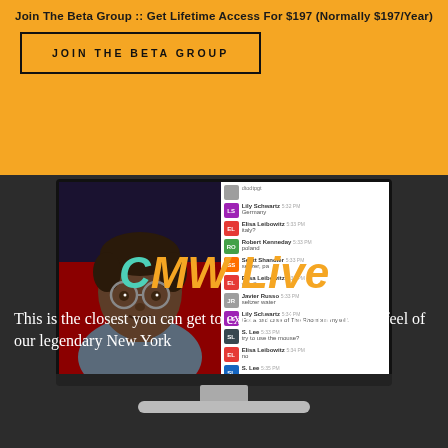Join The Beta Group :: Get Lifetime Access For $197 (Normally $197/Year)
JOIN THE BETA GROUP
[Figure (screenshot): A Samsung TV showing a man with glasses on screen left and a live chat feed on screen right, with chat messages from Lily Schwartz (Germany), Elisa Leibowitz (italy?), Robert Kenneday (poland), Scott Shandler (seltzer, pa), Elisa Leibowitz (wDs!!), Javier Russo (seltzer water), Lily Schwartz (Got a bad case of The Rhombus myself.), S. Lee (try to use the mouse?), Elisa Leibowitz (no), S. Lee (partial). TV stand visible below screen.]
CMW Live
This is the closest you can get to experiencing the unique feel of our legendary New York